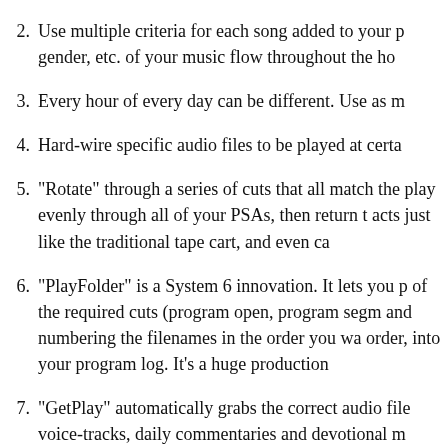2. Use multiple criteria for each song added to your playlist — gender, etc. of your music flow throughout the ho...
3. Every hour of every day can be different. Use as m...
4. Hard-wire specific audio files to be played at certa...
5. "Rotate" through a series of cuts that all match the... play evenly through all of your PSAs, then return t... acts just like the traditional tape cart, and even ca...
6. "PlayFolder" is a System 6 innovation. It lets you p... of the required cuts (program open, program segm... and numbering the filenames in the order you wa... order, into your program log. It's a huge production...
7. "GetPlay" automatically grabs the correct audio fil... voice-tracks, daily commentaries and devotional m...
8. "Break" markers can be placed in your master logs... software should "fall" when they are merged-in.